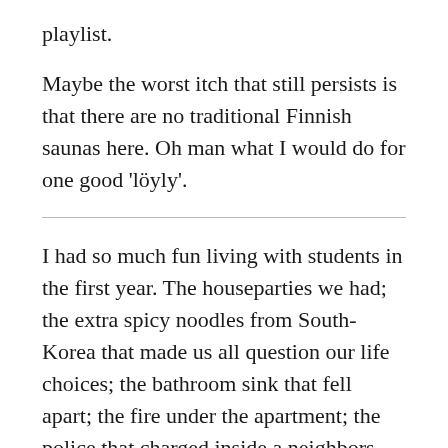playlist.
Maybe the worst itch that still persists is that there are no traditional Finnish saunas here. Oh man what I would do for one good 'löyly'.
I had so much fun living with students in the first year. The houseparties we had; the extra spicy noodles from South-Korea that made us all question our life choices; the bathroom sink that fell apart; the fire under the apartment; the police that charged inside a neighbors house which turned out to be a false-alarm; the crazy stuff that happened in the parties; the chili vodka that made